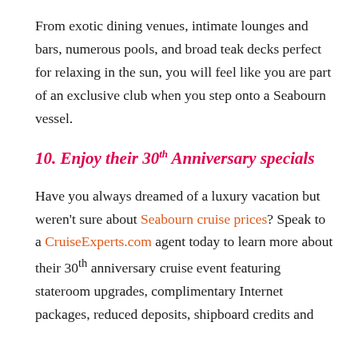From exotic dining venues, intimate lounges and bars, numerous pools, and broad teak decks perfect for relaxing in the sun, you will feel like you are part of an exclusive club when you step onto a Seabourn vessel.
10. Enjoy their 30th Anniversary specials
Have you always dreamed of a luxury vacation but weren't sure about Seabourn cruise prices? Speak to a CruiseExperts.com agent today to learn more about their 30th anniversary cruise event featuring stateroom upgrades, complimentary Internet packages, reduced deposits, shipboard credits and